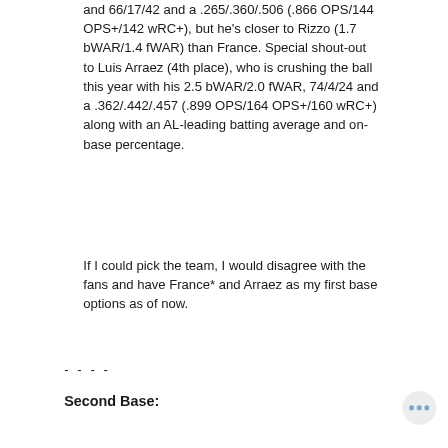and 66/17/42 and a .265/.360/.506 (.866 OPS/144 OPS+/142 wRC+), but he's closer to Rizzo (1.7 bWAR/1.4 fWAR) than France. Special shout-out to Luis Arraez (4th place), who is crushing the ball this year with his 2.5 bWAR/2.0 fWAR, 74/4/24 and a .362/.442/.457 (.899 OPS/164 OPS+/160 wRC+) along with an AL-leading batting average and on-base percentage.
If I could pick the team, I would disagree with the fans and have France* and Arraez as my first base options as of now.
- - - -
Second Base: